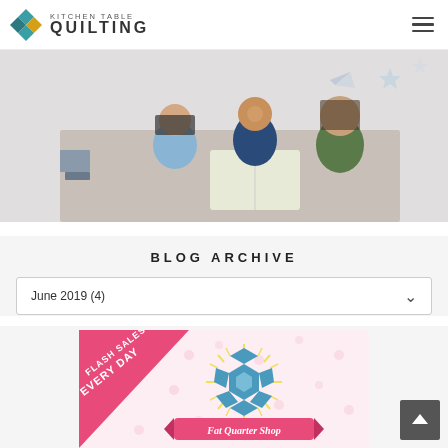KITCHEN TABLE QUILTING — Navigation bar with logo and hamburger menu
[Figure (photo): Three children (two girls and a boy) lying on the floor reading a book together, viewed from above. Colorful paper airplanes and stars decor in background.]
BLOG ARCHIVE
June 2019 (4)
[Figure (illustration): Fat Quarter Shop advertisement banner: pink diagonal band on left with white text 'FLASH SALES EVERY DAY', blue hexagon flower logo in center, yellow sunburst rays, pink polka-dot background, pink banner at bottom reading 'Fat Quarter Shop' in script.]